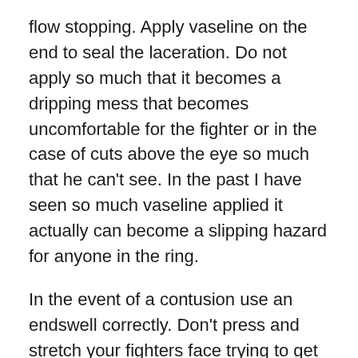flow stopping. Apply vaseline on the end to seal the laceration. Do not apply so much that it becomes a dripping mess that becomes uncomfortable for the fighter or in the case of cuts above the eye so much that he can't see. In the past I have seen so much vaseline applied it actually can become a slipping hazard for anyone in the ring.
In the event of a contusion use an endswell correctly. Don't press and stretch your fighters face trying to get rid of a bruise. Steady pressure in one direction is best. With petroleum jelly applied to the contact spot on an endswell, apply steady pressure and gently push the blood away from the contusion. The reason you coat the bottom of an endswell with petroleum jelly is that it can will stick to a fighter's flesh because of the cold if it isn't first coated. Please do not try to muscle the bump away. This is going